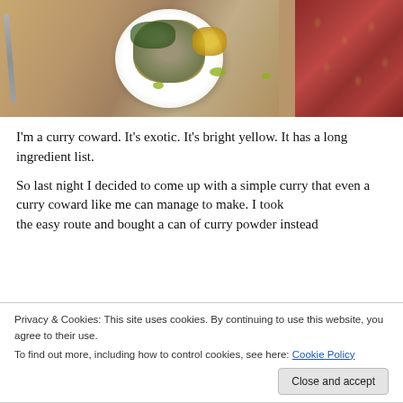[Figure (photo): Overhead view of a white plate with curry dish containing lentils, cauliflower, greens with green sauce drizzle, on a tan cloth with a fork to the left and a red patterned cloth to the right]
I'm a curry coward. It's exotic. It's bright yellow. It has a long ingredient list.
So last night I decided to come up with a simple curry that even a curry coward like me can manage to make. I took the easy route and bought a can of curry powder instead
Privacy & Cookies: This site uses cookies. By continuing to use this website, you agree to their use.
To find out more, including how to control cookies, see here: Cookie Policy
again for breakfast this morning while the baby was